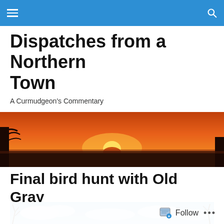Navigation bar with menu and search icons
Dispatches from a Northern Town
A Curmudgeon's Commentary
[Figure (photo): Wide panoramic sunset photo showing an orange and red sky with the sun just above the horizon, silhouetted trees in the foreground, over a flat landscape]
Final bird hunt with Old Gray
[Figure (photo): Partial photo showing bare tree branches against a blue sky with clouds and snow]
Follow  •••